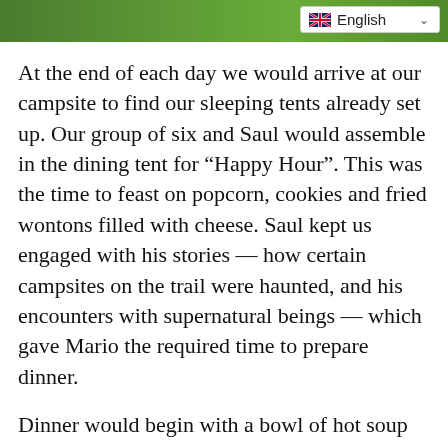[Figure (photo): Green background image at the top of the page, partially visible]
[Figure (screenshot): Language selector dropdown showing UK flag and 'English' with a chevron]
At the end of each day we would arrive at our campsite to find our sleeping tents already set up. Our group of six and Saul would assemble in the dining tent for “Happy Hour”. This was the time to feast on popcorn, cookies and fried wontons filled with cheese. Saul kept us engaged with his stories — how certain campsites on the trail were haunted, and his encounters with supernatural beings — which gave Mario the required time to prepare dinner.
Dinner would begin with a bowl of hot soup and then a spread that was equally elaborate on the most lavish consisting of roast as in